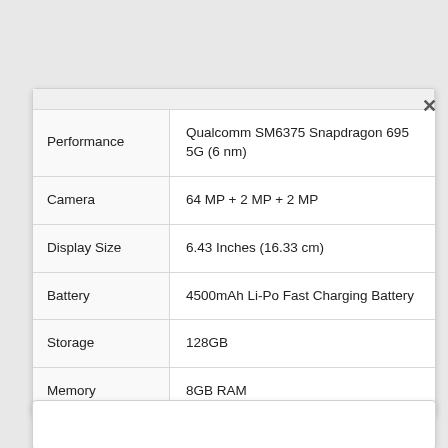| Feature | Value |
| --- | --- |
| Performance | Qualcomm SM6375 Snapdragon 695 5G (6 nm) |
| Camera | 64 MP + 2 MP + 2 MP |
| Display Size | 6.43 Inches (16.33 cm) |
| Battery | 4500mAh Li-Po Fast Charging Battery |
| Storage | 128GB |
| Memory | 8GB RAM |